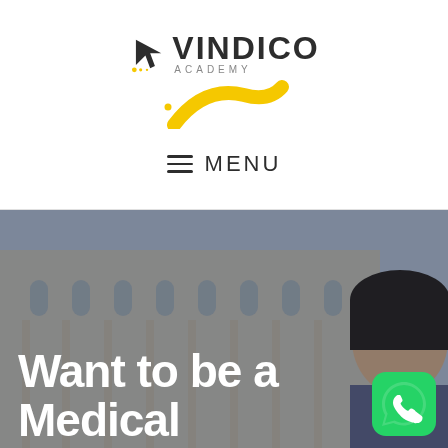[Figure (logo): Vindico Academy logo with arrow icon, wordmark VINDICO in dark, ACADEMY in grey, and yellow swoosh graphic below]
≡  MENU
[Figure (photo): Blurred background showing a university building with arched windows, and a young Asian woman smiling in the foreground on the right side. A WhatsApp button is overlaid in the bottom right corner.]
Want to be a Medical